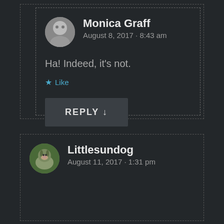Monica Graff
August 8, 2017 · 8:43 am
Ha! Indeed, it's not.
★ Like
REPLY ↓
Littlesundog
August 11, 2017 · 1:31 pm